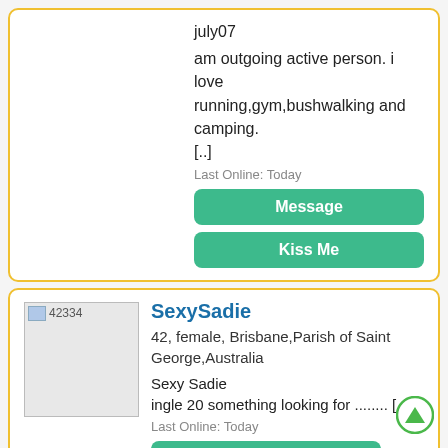july07
am outgoing active person. i love running,gym,bushwalking and camping.
[..]
Last Online: Today
Message
Kiss Me
[Figure (photo): Profile photo placeholder for user 42334]
SexySadie
42, female, Brisbane,Parish of Saint George,Australia
Sexy Sadie
ingle 20 something looking for ........ [..]
Last Online: Today
Message
Kiss Me